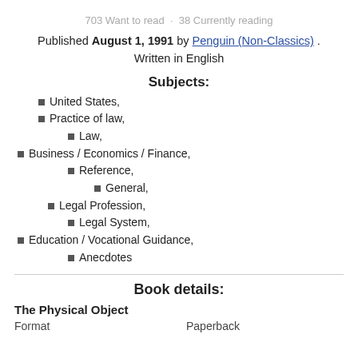703 Want to read  ·  38 Currently reading
Published August 1, 1991 by Penguin (Non-Classics) . Written in English
Subjects:
United States,
Practice of law,
Law,
Business / Economics / Finance,
Reference,
General,
Legal Profession,
Legal System,
Education / Vocational Guidance,
Anecdotes
Book details:
The Physical Object
Format    Paperback